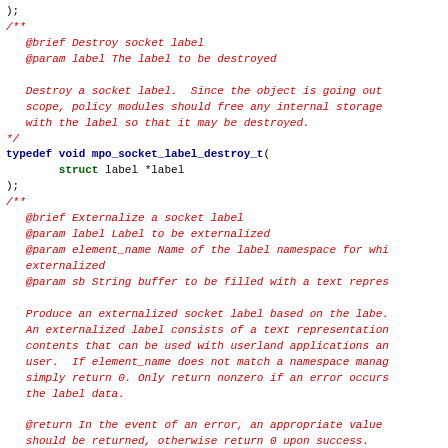);
/**
   @brief Destroy socket label
   @param label The label to be destroyed

   Destroy a socket label.  Since the object is going out
   scope, policy modules should free any internal storage
   with the label so that it may be destroyed.
*/
typedef void mpo_socket_label_destroy_t(
        struct label *label
);
/**
   @brief Externalize a socket label
   @param label Label to be externalized
   @param element_name Name of the label namespace for whi
   externalized
   @param sb String buffer to be filled with a text repres

   Produce an externalized socket label based on the labe.
   An externalized label consists of a text representation
   contents that can be used with userland applications an
   user.  If element_name does not match a namespace manag
   simply return 0. Only return nonzero if an error occurs
   the label data.

   @return In the event of an error, an appropriate value
   should be returned, otherwise return 0 upon success.
*/
typedef int mpo_socket_label_externalize_t(